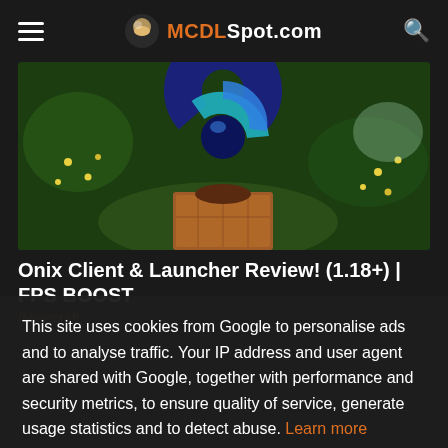MCDLSpot.com
[Figure (photo): Minecraft-themed hero image showing a blue swirling logo/orb above a wooden/dirt block, with green foliage and yellow flowers in the background]
Onix Client & Launcher Review! (1.18+) | FPS BOOST
/Minecraft
This site uses cookies from Google to personalise ads and to analyse traffic. Your IP address and user agent are shared with Google, together with performance and security metrics, to ensure quality of service, generate usage statistics and to detect abuse. Learn more
Got it